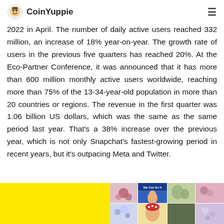CoinYuppie
2022 in April. The number of daily active users reached 332 million, an increase of 18% year-on-year. The growth rate of users in the previous five quarters has reached 20%. At the Eco-Partner Conference, it was announced that it has more than 600 million monthly active users worldwide, reaching more than 75% of the 13-34-year-old population in more than 20 countries or regions. The revenue in the first quarter was 1.06 billion US dollars, which was the same as the same period last year. That's a 38% increase over the previous year, which is not only Snapchat's fastest-growing period in recent years, but it's outpacing Meta and Twitter.
[Figure (photo): Yellow background image strip with multiple photo collage panels showing people and decorative elements with 'We Can Do It' text visible on one panel]